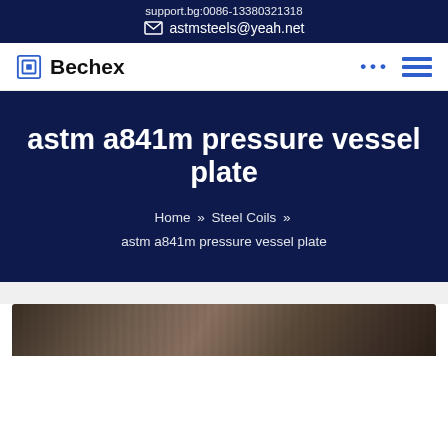support.bg:0086-13380321318 | astmsteels@yeah.net
Bechex
astm a841m pressure vessel plate
Home » Steel Coils » astm a841m pressure vessel plate
[Figure (photo): Partial view of steel coils or pressure vessel plate material, dark brown/grey tones]